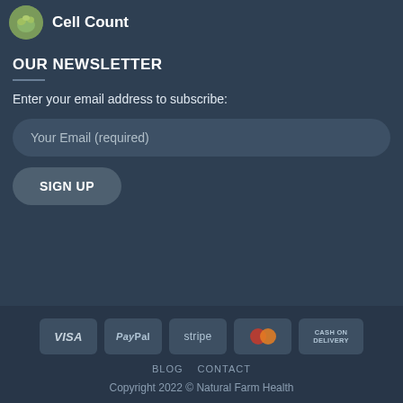Cell Count
OUR NEWSLETTER
Enter your email address to subscribe:
Your Email (required)
SIGN UP
[Figure (other): Payment method icons: VISA, PayPal, stripe, Mastercard, CASH ON DELIVERY]
BLOG  CONTACT
Copyright 2022 © Natural Farm Health